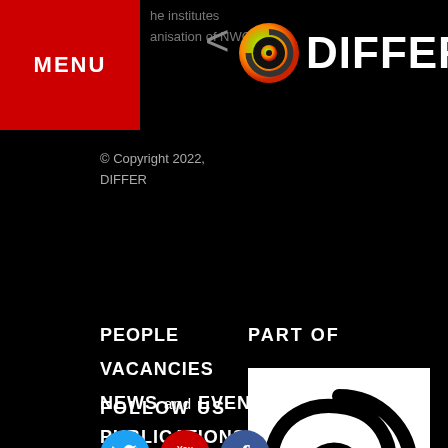MENU | the institutes | anisation of NWO.
[Figure (logo): DIFFER logo with circular gradient icon (green/yellow/orange/red) and white DIFFER text]
© Copyright 2022, DIFFER
PEOPLE
VACANCIES
NEWS and EVENTS
PUBLICATIONS
CONTACT
DISCLAIMER and PRIVACY
PART OF
[Figure (logo): NWO logo: white box with black spiral/swirl design above NWO text]
FOLLOW US
[Figure (infographic): Social media icons: Twitter (blue circle), YouTube (red circle), Facebook (blue circle)]